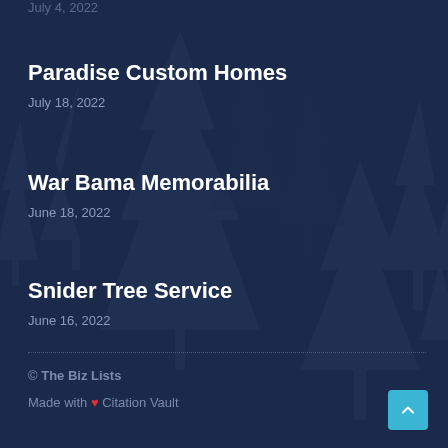July 4, 2022
Paradise Custom Homes
July 18, 2022
War Bama Memorabilia
June 18, 2022
Snider Tree Service
June 16, 2022
© The Biz Lists
Made with ♥ Citation Vault